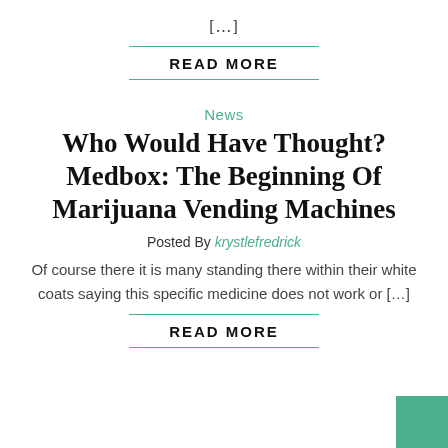[…]
READ MORE
News
Who Would Have Thought? Medbox: The Beginning Of Marijuana Vending Machines
Posted By krystlefredrick
Of course there it is many standing there within their white coats saying this specific medicine does not work or […]
READ MORE